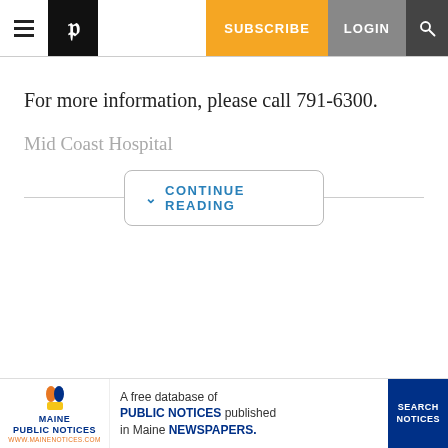≡ P | SUBSCRIBE | LOGIN | 🔍
For more information, please call 791-6300.
Mid Coast Hospital
CONTINUE READING
[Figure (other): Maine Public Notices advertisement banner: 'A free database of PUBLIC NOTICES published in Maine NEWSPAPERS. SEARCH NOTICES']